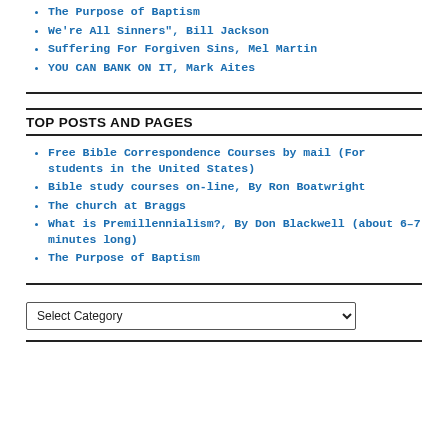The Purpose of Baptism
We're All Sinners", Bill Jackson
Suffering For Forgiven Sins, Mel Martin
YOU CAN BANK ON IT, Mark Aites
TOP POSTS AND PAGES
Free Bible Correspondence Courses by mail (For students in the United States)
Bible study courses on-line, By Ron Boatwright
The church at Braggs
What is Premillennialism?, By Don Blackwell (about 6-7 minutes long)
The Purpose of Baptism